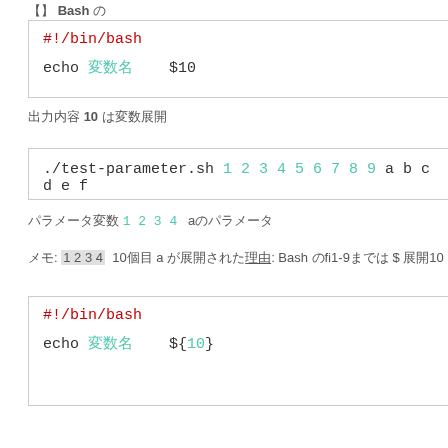Bash
[Figure (screenshot): Code block showing #!/bin/bash and echo with variable and $10]
10
[Figure (screenshot): Terminal command: ./test-parameter.sh 1 2 3 4 5 6 7 8 9 a b c d e f]
a
10 a Bash 1-9 $ 10
[Figure (screenshot): Code block showing #!/bin/bash and echo with variable and ${10}]